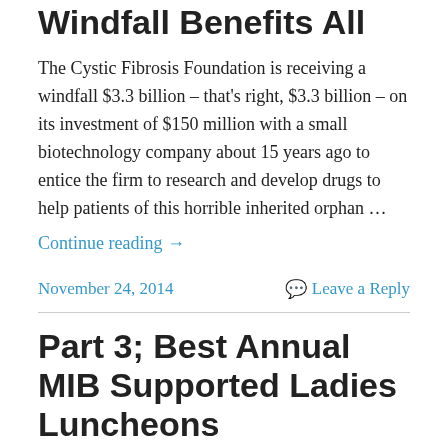Windfall Benefits All
The Cystic Fibrosis Foundation is receiving a windfall $3.3 billion – that's right, $3.3 billion – on its investment of $150 million with a small biotechnology company about 15 years ago to entice the firm to research and develop drugs to help patients of this horrible inherited orphan …
Continue reading →
November 24, 2014   Leave a Reply
Part 3; Best Annual MIB Supported Ladies Luncheons Fundraisers
Moving along in our listing of MIB's Best Annual